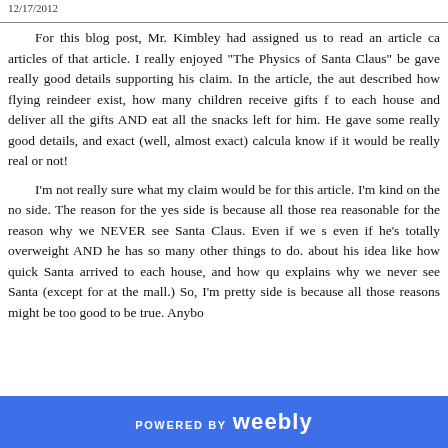12/17/2012
For this blog post, Mr. Kimbley had assigned us to read an article ca articles of that article. I really enjoyed "The Physics of Santa Claus" be gave really good details supporting his claim. In the article, the aut described how flying reindeer exist, how many children receive gifts f to each house and deliver all the gifts AND eat all the snacks left for him. He gave some really good details, and exact (well, almost exact) calcula know if it would be really real or not!
I'm not really sure what my claim would be for this article. I'm kind on the no side. The reason for the yes side is because all those rea reasonable for the reason why we NEVER see Santa Claus. Even if we s even if he's totally overweight AND he has so many other things to do. about his idea like how quick Santa arrived to each house, and how qu explains why we never see Santa (except for at the mall.) So, I'm pretty side is because all those reasons might be too good to be true. Anybo
POWERED BY weebly